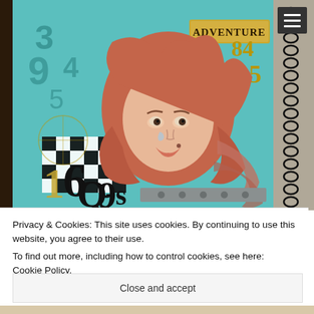[Figure (photo): Art journal spread with a painted woman with red hair, teal/turquoise background with numbers, checkerboard patterns, vintage text, and the word ADVENTURE on a label. A spiral-bound notebook with black coils on the right side.]
Privacy & Cookies: This site uses cookies. By continuing to use this website, you agree to their use.
To find out more, including how to control cookies, see here: Cookie Policy
Close and accept